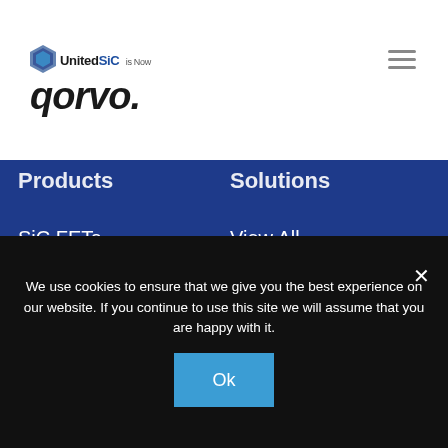UnitedSiC is Now Qorvo
Products
Solutions
SiC FETs
SiC JFETs
SiC Schottky Diodes
Product Selector
View All
Design Resources
About
We use cookies to ensure that we give you the best experience on our website. If you continue to use this site we will assume that you are happy with it.